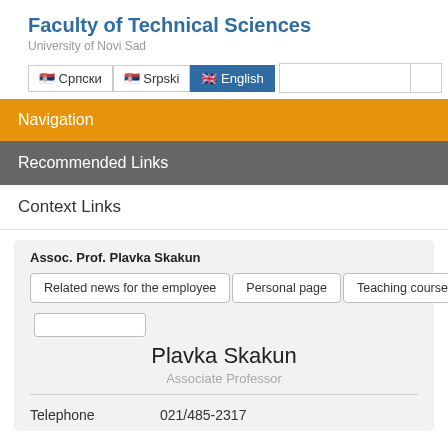Faculty of Technical Sciences
University of Novi Sad
Navigation
Recommended Links
Context Links
Assoc. Prof. Plavka Skakun
Related news for the employee | Personal page | Teaching courses
Plavka Skakun
Associate Professor
Telephone   021/485-2317